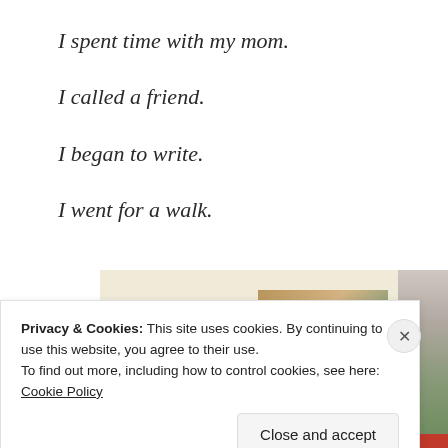I spent time with my mom.
I called a friend.
I began to write.
I went for a walk.
[Figure (screenshot): Advertisement banner with 'Explore options' green button and food/recipe images on a beige background]
Privacy & Cookies: This site uses cookies. By continuing to use this website, you agree to their use.
To find out more, including how to control cookies, see here: Cookie Policy
Close and accept